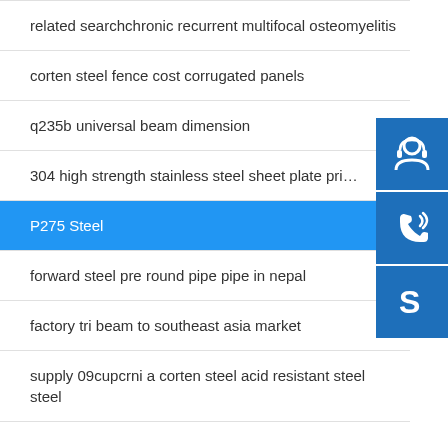related searchchronic recurrent multifocal osteomyelitis
corten steel fence cost corrugated panels
q235b universal beam dimension
304 high strength stainless steel sheet plate pri…
P275 Steel
forward steel pre round pipe pipe in nepal
factory tri beam to southeast asia market
supply 09cupcrni a corten steel acid resistant steel steel